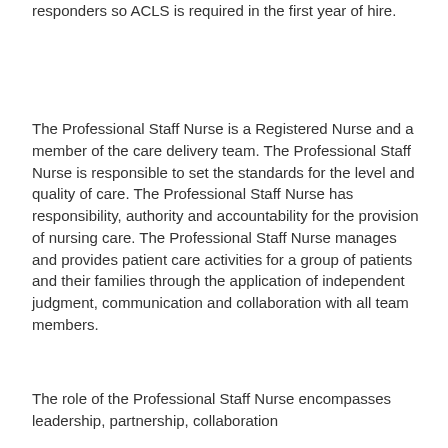responders so ACLS is required in the first year of hire.
The Professional Staff Nurse is a Registered Nurse and a member of the care delivery team. The Professional Staff Nurse is responsible to set the standards for the level and quality of care. The Professional Staff Nurse has responsibility, authority and accountability for the provision of nursing care. The Professional Staff Nurse manages and provides patient care activities for a group of patients and their families through the application of independent judgment, communication and collaboration with all team members.
The role of the Professional Staff Nurse encompasses leadership, partnership, collaboration